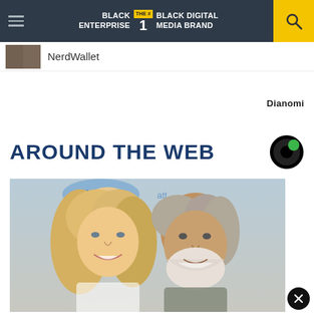BLACK ENTERPRISE THE #1 BLACK DIGITAL MEDIA BRAND
NerdWallet
Dianomi
AROUND THE WEB
[Figure (photo): Couple posing at AT&T event - blonde woman and older man with white beard smiling together]